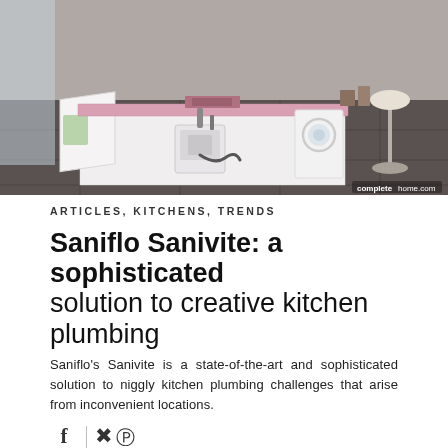[Figure (photo): Kitchen island with pink countertop, open cabinet revealing a Saniflo Sanivite pump unit, washing machine visible, bar stool on the right. Watermark reads 'completehome.com'.]
completehome.com
ARTICLES, KITCHENS, TRENDS
Saniflo Sanivite: a sophisticated solution to creative kitchen plumbing
Saniflo's Sanivite is a state-of-the-art and sophisticated solution to niggly kitchen plumbing challenges that arise from inconvenient locations.